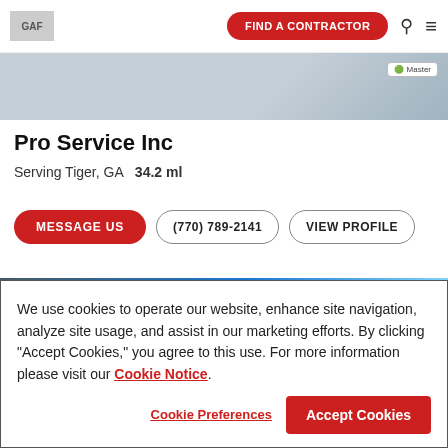GAF | FIND A CONTRACTOR
[Figure (photo): Partial contractor header image with master badge]
Pro Service Inc
Serving Tiger, GA   34.2 ml
MESSAGE US | (770) 789-2141 | VIEW PROFILE
[Figure (photo): Building exterior photo with blue sky]
We use cookies to operate our website, enhance site navigation, analyze site usage, and assist in our marketing efforts. By clicking "Accept Cookies," you agree to this use. For more information please visit our Cookie Notice.
Cookie Preferences | Accept Cookies